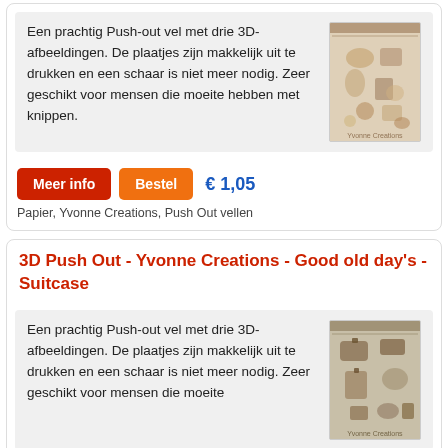Een prachtig Push-out vel met drie 3D-afbeeldingen. De plaatjes zijn makkelijk uit te drukken en een schaar is niet meer nodig. Zeer geschikt voor mensen die moeite hebben met knippen.
[Figure (photo): Product image of a push-out sheet with 3D vintage/retro themed cutout pieces]
Meer info   Bestel   € 1,05
Papier, Yvonne Creations, Push Out vellen
3D Push Out - Yvonne Creations - Good old day's - Suitcase
Een prachtig Push-out vel met drie 3D-afbeeldingen. De plaatjes zijn makkelijk uit te drukken en een schaar is niet meer nodig. Zeer geschikt voor mensen die moeite...
[Figure (photo): Product image of a push-out sheet with 3D suitcase themed cutout pieces]